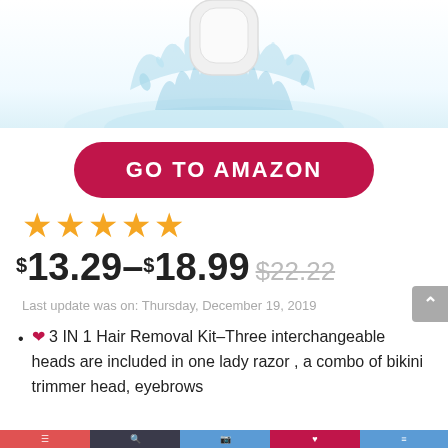[Figure (photo): Product photo: white beauty device splashing in water, top portion of page]
GO TO AMAZON
★★★★★
$13.29–$18.99 $22.22
Last update was on: Thursday, December 19, 2019
❤ 3 IN 1 Hair Removal Kit–Three interchangeable heads are included in one lady razor , a combo of bikini trimmer head, eyebrows